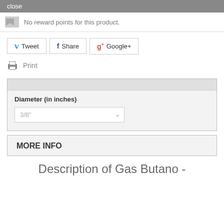close
No reward points for this product.
[Figure (screenshot): Social sharing buttons: Tweet (Twitter), Share (Facebook), Google+]
Print
Diameter (in inches)
3/8"
MORE INFO
Description of Gas Butano -